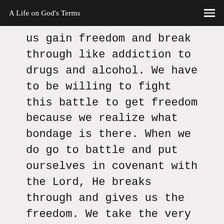A Life on God's Terms
us gain freedom and break through like addiction to drugs and alcohol. We have to be willing to fight this battle to get freedom because we realize what bondage is there. When we do go to battle and put ourselves in covenant with the Lord, He breaks through and gives us the freedom. We take the very land that we were in bondage in and it becomes the land of our freedom. The land is